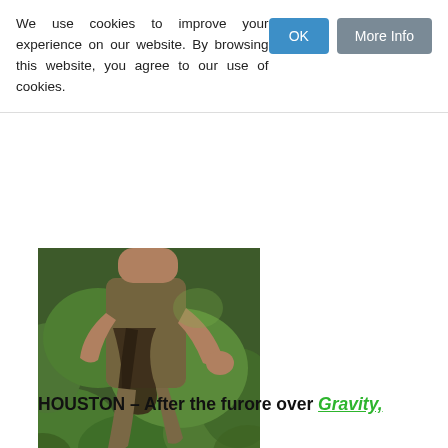We use cookies to improve your experience on our website. By browsing this website, you agree to our use of cookies.
[Figure (photo): Person running in a forest, wearing medieval-style chainmail and rough fabric clothing, with lush green vegetation in the background]
HOUSTON – After the furore over Gravity,